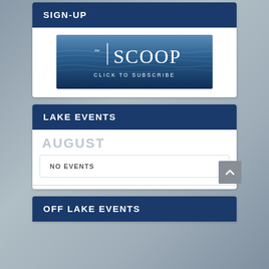SIGN-UP
[Figure (illustration): The Scoop newsletter banner with water/lake background, text reading 'the SCOOP' and 'CLICK TO SUBSCRIBE']
LAKE EVENTS
AUGUST
NO EVENTS
OFF LAKE EVENTS